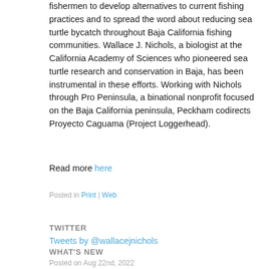fishermen to develop alternatives to current fishing practices and to spread the word about reducing sea turtle bycatch throughout Baja California fishing communities. Wallace J. Nichols, a biologist at the California Academy of Sciences who pioneered sea turtle research and conservation in Baja, has been instrumental in these efforts. Working with Nichols through Pro Peninsula, a binational nonprofit focused on the Baja California peninsula, Peckham codirects Proyecto Caguama (Project Loggerhead).
Read more here
Posted in Print | Web
TWITTER
Tweets by @wallacejnichols
WHAT'S NEW
Posted on Aug 22nd, 2022